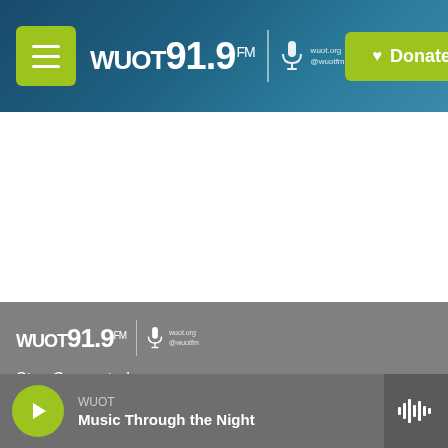[Figure (screenshot): WUOT 91.9 FM radio station website header with dark teal/blue gradient background, green menu button, WUOT 91.9 FM logo with microphone icon and wuot.org/@wuotfm text, and a green Donate button with heart icon]
[Figure (screenshot): WUOT 91.9 FM website footer with gray background, WUOT logo, Stay Connected text, Twitter and Facebook social media icon buttons (black circles), and a media player bar at the bottom showing WUOT / Music Through the Night with a green play button and waveform icon]
Stay Connected
WUOT
Music Through the Night